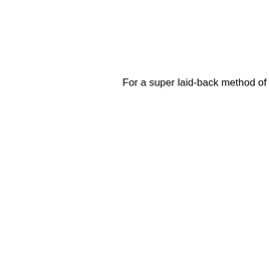For a super laid-back method of dressing